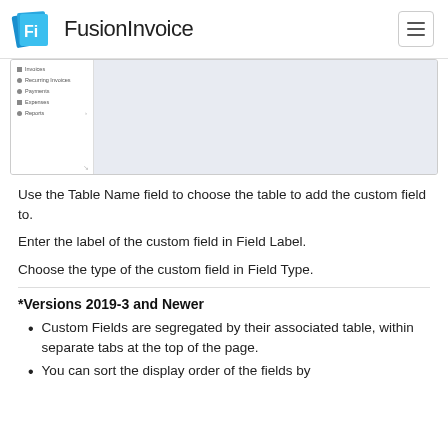FusionInvoice
[Figure (screenshot): FusionInvoice application screenshot showing a sidebar with menu items (Invoices, Recurring Invoices, Payments, Expenses, Reports) and a light blue-grey content area on the right.]
Use the Table Name field to choose the table to add the custom field to.
Enter the label of the custom field in Field Label.
Choose the type of the custom field in Field Type.
*Versions 2019-3 and Newer
Custom Fields are segregated by their associated table, within separate tabs at the top of the page.
You can sort the display order of the fields by